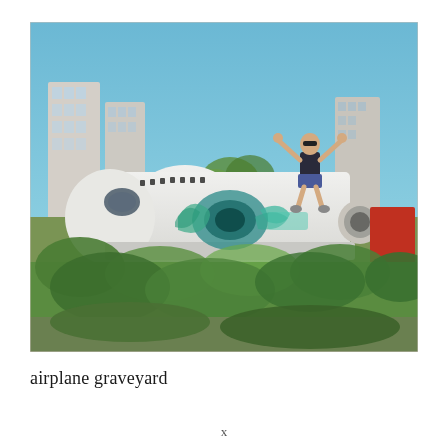[Figure (photo): A person sitting on the nose of an abandoned airplane fuselage covered in graffiti art (teal/blue designs), surrounded by overgrown vegetation, with tall residential buildings and a blue sky in the background. The airplane is white and wingless, sitting in an urban outdoor lot.]
airplane graveyard
x